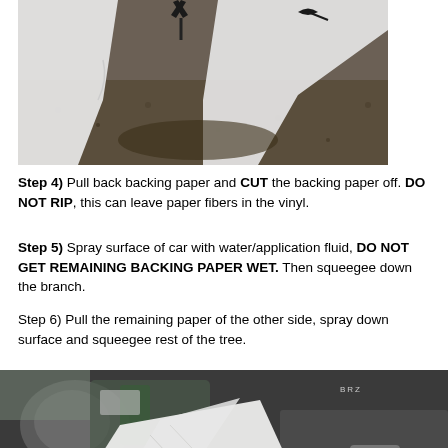[Figure (photo): Photo showing backing paper being pulled back from a vinyl wrap on a surface, with scissors/cutting tool visible at top and wet gravel/concrete surface below.]
Step 4) Pull back backing paper and CUT the backing paper off. DO NOT RIP, this can leave paper fibers in the vinyl.
Step 5) Spray surface of car with water/application fluid, DO NOT GET REMAINING BACKING PAPER WET. Then squeegee down the branch.
Step 6) Pull the remaining paper of the other side, spray down surface and squeegee rest of the tree.
[Figure (photo): Photo showing the side of a dark SUV/car with white backing paper being peeled from a vinyl wrap near the side mirror area.]